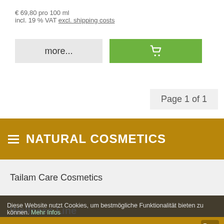€ 69,80 pro 100 ml
incl. 19 % VAT excl. shipping costs
more...
[Figure (other): Green shopping cart button icon]
Page 1 of 1
≡ NATURAL COSMETICS
Tailam Care Cosmetics
Wellness Line
Diese Website nutzt Cookies, um bestmögliche Funktionalität bieten zu können. Mehr Infos
0 Product   Ok, verstanden